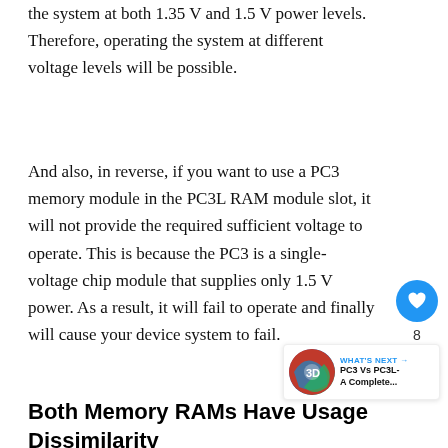the system at both 1.35 V and 1.5 V power levels. Therefore, operating the system at different voltage levels will be possible.
And also, in reverse, if you want to use a PC3 memory module in the PC3L RAM module slot, it will not provide the required sufficient voltage to operate. This is because the PC3 is a single-voltage chip module that supplies only 1.5 V power. As a result, it will fail to operate and finally will cause your device system to fail.
Both Memory RAMs Have Usage Dissimilarity
Usually, PC3 or DDR3 RAM module is used on most of the computer, laptop, and desktop devices, servers